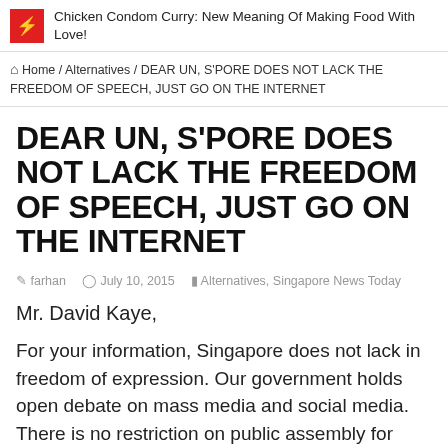Chicken Condom Curry: New Meaning Of Making Food With Love!
Home / Alternatives / DEAR UN, S'PORE DOES NOT LACK THE FREEDOM OF SPEECH, JUST GO ON THE INTERNET
DEAR UN, S'PORE DOES NOT LACK THE FREEDOM OF SPEECH, JUST GO ON THE INTERNET
farhan   July 10, 2015   Alternatives, Singapore News Today
Mr. David Kaye,
For your information, Singapore does not lack in freedom of expression. Our government holds open debate on mass media and social media. There is no restriction on public assembly for social gatherings. Public assembly for political purposes can be held at Hong Lim Park.